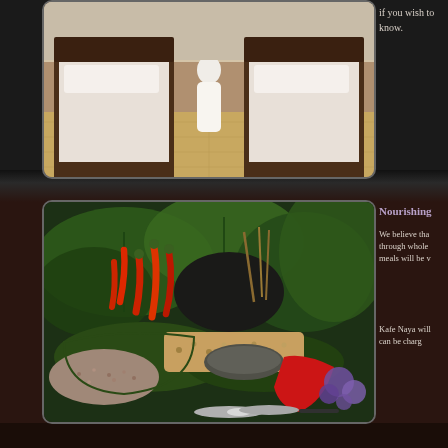[Figure (photo): Hotel bedroom viewed from the foot of the bed, showing two single beds with white pillows, wooden bed frames, tiled floor, and a person in white standing between the beds]
if you wish to know.
[Figure (photo): Traditional Balinese food spread displayed on large green banana leaves, featuring red chilies, dark colored rice mound, grains, decorated dishes with tropical plants in background, red napkin and silver utensils]
Nourishing
We believe tha through whole meals will be v
Kafe Naya will can be charg